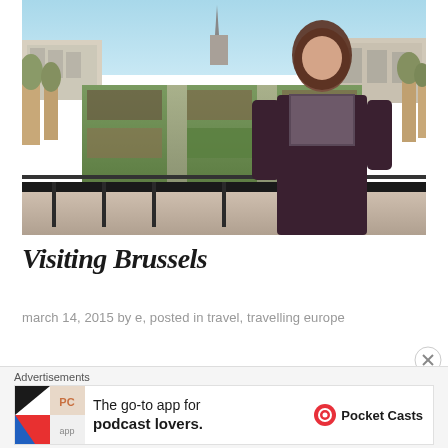[Figure (photo): A woman with long brown hair wearing a dark burgundy jacket and patterned scarf stands on a balcony overlooking Mont des Arts gardens in Brussels, Belgium. City buildings and a church spire are visible in the background under a clear sky.]
Visiting Brussels
march 14, 2015 by e, posted in travel, travelling europe
[Figure (infographic): Advertisement banner: The go-to app for podcast lovers. Pocket Casts. Shows Pocket Casts app icon logo on the left.]